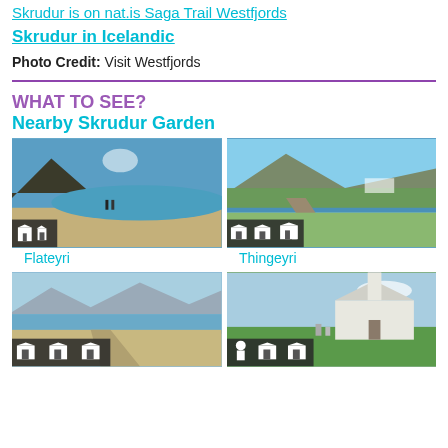Skrudur is on nat.is Saga Trail Westfjords
Skrudur in Icelandic
Photo Credit: Visit Westfjords
WHAT TO SEE?
Nearby Skrudur Garden
[Figure (photo): Beach scene with two people walking, mountains and blue sea in background, building icons overlay at bottom left]
[Figure (photo): Aerial view of fjord town with green hills and mountains, three building icons at bottom left]
Flateyri
Thingeyri
[Figure (photo): Wide sandy beach with mountains and calm water, three building icons at bottom left]
[Figure (photo): White church building with turf roof and gravestones, icons at bottom left]